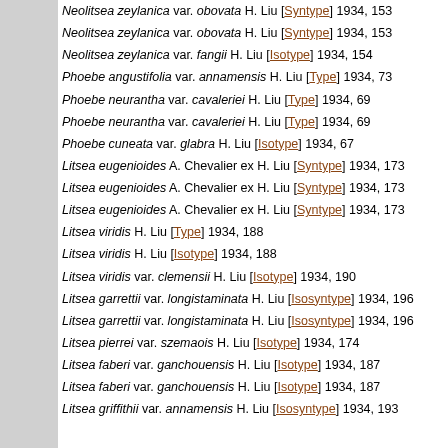Neolitsea zeylanica var. obovata H. Liu [Syntype] 1934, 153
Neolitsea zeylanica var. obovata H. Liu [Syntype] 1934, 153
Neolitsea zeylanica var. fangii H. Liu [Isotype] 1934, 154
Phoebe angustifolia var. annamensis H. Liu [Type] 1934, 73
Phoebe neurantha var. cavaleriei H. Liu [Type] 1934, 69
Phoebe neurantha var. cavaleriei H. Liu [Type] 1934, 69
Phoebe cuneata var. glabra H. Liu [Isotype] 1934, 67
Litsea eugenioides A. Chevalier ex H. Liu [Syntype] 1934, 173
Litsea eugenioides A. Chevalier ex H. Liu [Syntype] 1934, 173
Litsea eugenioides A. Chevalier ex H. Liu [Syntype] 1934, 173
Litsea viridis H. Liu [Type] 1934, 188
Litsea viridis H. Liu [Isotype] 1934, 188
Litsea viridis var. clemensii H. Liu [Isotype] 1934, 190
Litsea garrettii var. longistaminata H. Liu [Isosyntype] 1934, 196
Litsea garrettii var. longistaminata H. Liu [Isosyntype] 1934, 196
Litsea pierrei var. szemaois H. Liu [Isotype] 1934, 174
Litsea faberi var. ganchouensis H. Liu [Isotype] 1934, 187
Litsea faberi var. ganchouensis H. Liu [Isotype] 1934, 187
Litsea griffithii var. annamensis H. Liu [Isosyntype] 1934, 193